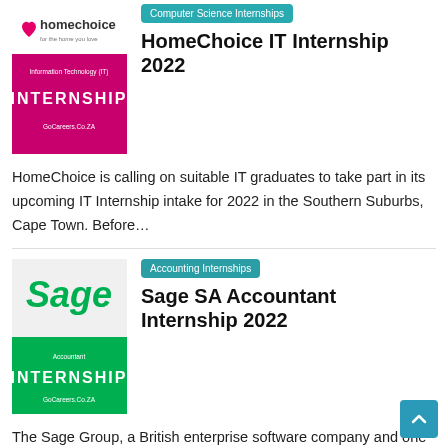Computer Science Internships
[Figure (illustration): HomeChoice IT Internship promotional image with logo and pink/magenta background]
HomeChoice IT Internship 2022
HomeChoice is calling on suitable IT graduates to take part in its upcoming IT Internship intake for 2022 in the Southern Suburbs, Cape Town. Before…
Accounting Internships
[Figure (illustration): Sage SA Accountant Internship promotional image with Sage logo and green background]
Sage SA Accountant Internship 2022
The Sage Group, a British enterprise software company and one of the largest enterprise resource planning software developers in the world, is…